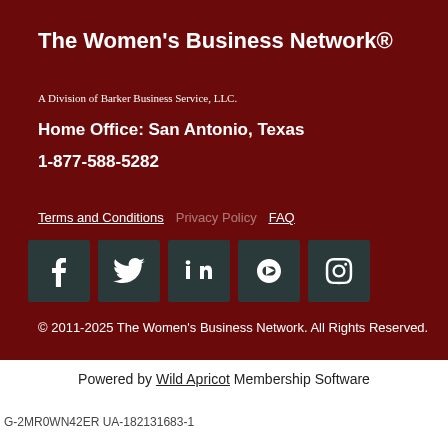The Women's Business Network®
A Division of Barker Business Service, LLC.
Home Office:  San Antonio, Texas
1-877-588-5282
Terms and Conditions   Privacy Policy   FAQ
[Figure (other): Social media icons: Facebook, Twitter, LinkedIn, YouTube, Instagram]
© 2011-2025 The Women's Business Network. All Rights Reserved.
Powered by Wild Apricot Membership Software
G-2MR0WN42ER UA-182131683-1